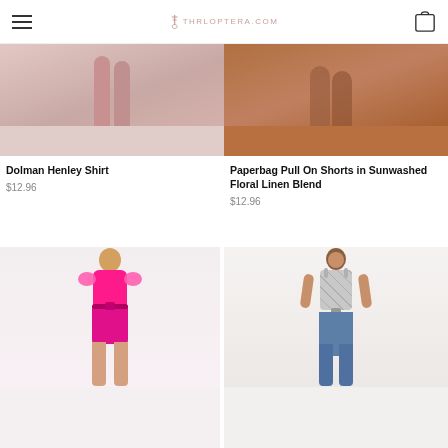THRLOPTERA.COM
[Figure (photo): Cropped photo of woman wearing pink trousers, bottom half visible]
[Figure (photo): Cropped photo of woman wearing paperbag shorts, lower body visible]
Dolman Henley Shirt
$12.96
Paperbag Pull On Shorts in Sunwashed Floral Linen Blend
$12.96
[Figure (photo): Woman wearing bright pink ruffle-sleeve top and pink embroidered shorts with tie waist]
[Figure (photo): Woman wearing grey floral print tie-front tank top with blue jeans]